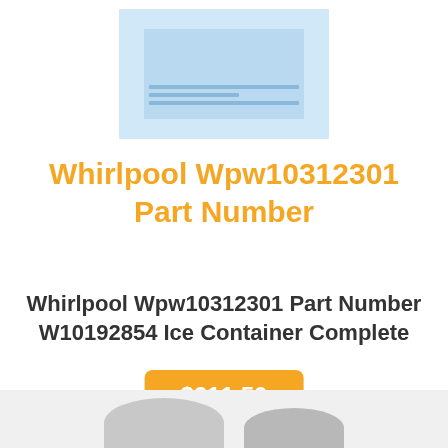[Figure (photo): Product photo of Whirlpool ice container part, shown in blue/white packaging on light blue background]
Whirlpool Wpw10312301 Part Number
Whirlpool Wpw10312301 Part Number W10192854 Ice Container Complete
$211.50
[Figure (photo): Partial product image visible at bottom of page, appears to be another product on gray background]